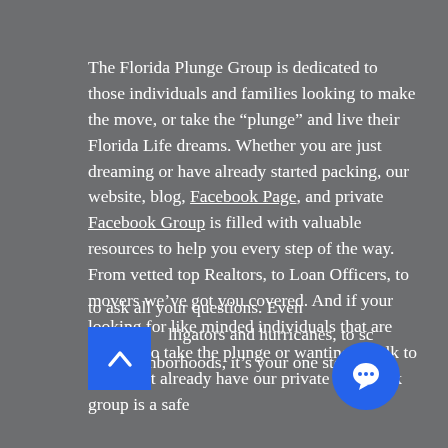The Florida Plunge Group is dedicated to those individuals and families looking to make the move, or take the “plunge” and live their Florida Life dreams. Whether you are just dreaming or have already started packing, our website, blog, Facebook Page, and private Facebook Group is filled with valuable resources to help you every step of the way. From vetted top Realtors, to Loan Officers, to movers we’ve got you covered. And if your looking for like minded individuals that are looking to take the plunge or wanting to talk to those that already have our private Facebook group is a safe [place] to ask all your questions. Even [alligators] and hurricanes, to sc[hools] and neighborhoods, it’s your one stop